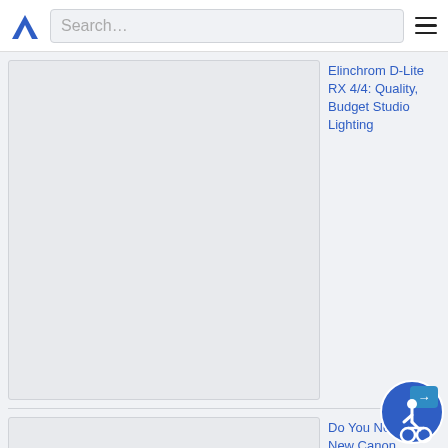Search…
Elinchrom D-Lite RX 4/4: Quality, Budget Studio Lighting
[Figure (photo): Placeholder image for Elinchrom D-Lite RX 4/4 article]
Do You Need the New Canon Speedlite 600EX-RT?
[Figure (photo): Placeholder image for Canon Speedlite 600EX-RT article]
Clip Studio Paint…